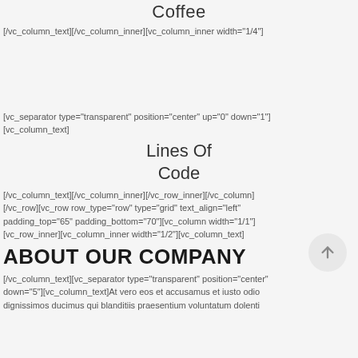Coffee
[/vc_column_text][/vc_column_inner][vc_column_inner width="1/4"]
[vc_separator type="transparent" position="center" up="0" down="1"][vc_column_text]
Lines Of Code
[/vc_column_text][/vc_column_inner][/vc_row_inner][/vc_column][/vc_row][vc_row row_type="row" type="grid" text_align="left" padding_top="65" padding_bottom="70"][vc_column width="1/1"][vc_row_inner][vc_column_inner width="1/2"][vc_column_text]
ABOUT OUR COMPANY
[/vc_column_text][vc_separator type="transparent" position="center" down="5"][vc_column_text]At vero eos et accusamus et iusto odio dignissimos ducimus qui blanditiis praesentium voluntatum dolenti